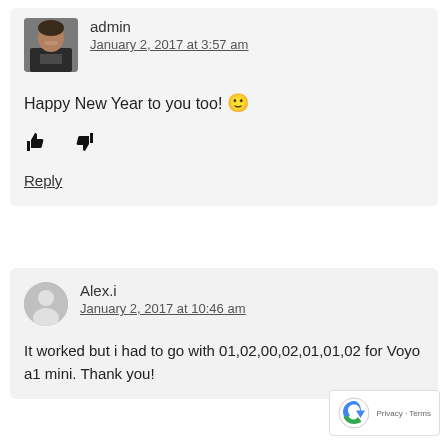admin
January 2, 2017 at 3:57 am
Happy New Year to you too! 🙂
Reply
Alex.i
January 2, 2017 at 10:46 am
It worked but i had to go with 01,02,00,02,01,01,02 for Voyo a1 mini. Thank you!